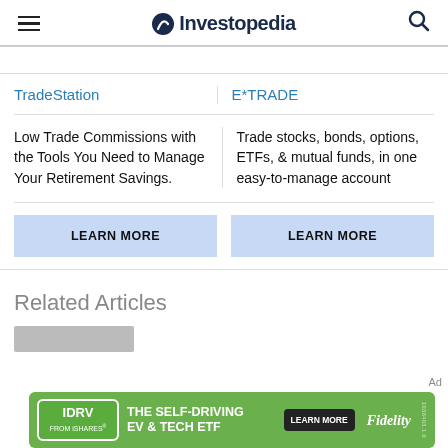Investopedia
| TradeStation | E*TRADE |
| --- | --- |
| Low Trade Commissions with the Tools You Need to Manage Your Retirement Savings. | Trade stocks, bonds, options, ETFs, & mutual funds, in one easy-to-manage account |
| LEARN MORE | LEARN MORE |
Related Articles
[Figure (infographic): IDRV FROM iSHARES advertisement banner: THE SELF-DRIVING EV & TECH ETF, LEARN MORE, Fidelity]
Ad